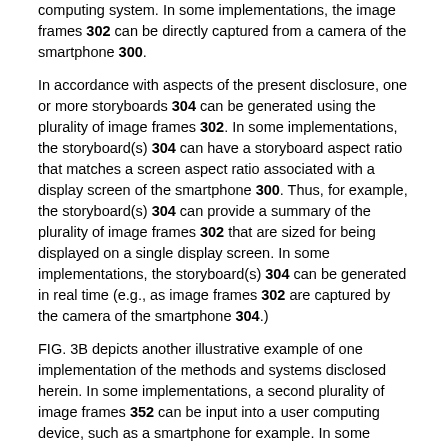computing system. In some implementations, the image frames 302 can be directly captured from a camera of the smartphone 300.
In accordance with aspects of the present disclosure, one or more storyboards 304 can be generated using the plurality of image frames 302. In some implementations, the storyboard(s) 304 can have a storyboard aspect ratio that matches a screen aspect ratio associated with a display screen of the smartphone 300. Thus, for example, the storyboard(s) 304 can provide a summary of the plurality of image frames 302 that are sized for being displayed on a single display screen. In some implementations, the storyboard(s) 304 can be generated in real time (e.g., as image frames 302 are captured by the camera of the smartphone 304.)
FIG. 3B depicts another illustrative example of one implementation of the methods and systems disclosed herein. In some implementations, a second plurality of image frames 352 can be input into a user computing device, such as a smartphone for example. In some embodiments, a first storyboard 356 can be displayed to a user, and based on the feedback received from the user